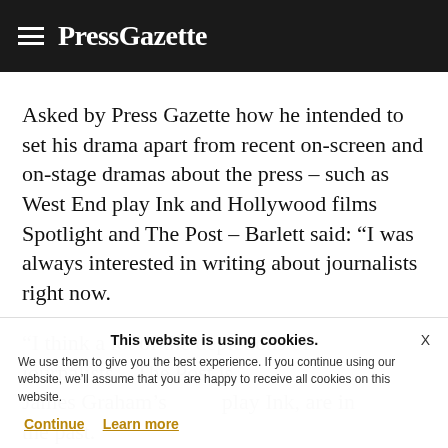PressGazette
Asked by Press Gazette how he intended to set his drama apart from recent on-screen and on-stage dramas about the press – such as West End play Ink and Hollywood films Spotlight and The Post – Barlett said: “I was always interested in writing about journalists right now.
“I think a lot of the depictions of journalists... The Post is... James Graham’s play Ink, are in the past.
This website is using cookies. We use them to give you the best experience. If you continue using our website, we’ll assume that you are happy to receive all cookies on this website.